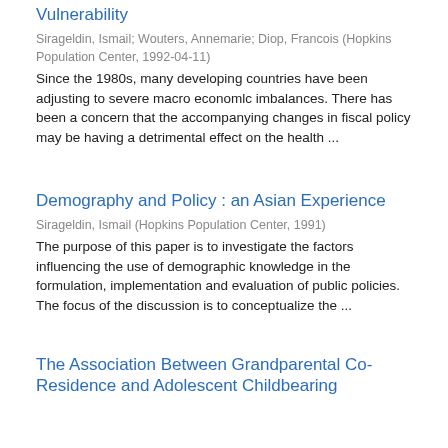Vulnerability
Sirageldin, Ismail; Wouters, Annemarie; Diop, Francois (Hopkins Population Center, 1992-04-11)
Since the 1980s, many developing countries have been adjusting to severe macro economlc imbalances. There has been a concern that the accompanying changes in fiscal policy may be having a detrimental effect on the health ...
Demography and Policy : an Asian Experience
Sirageldin, Ismail (Hopkins Population Center, 1991)
The purpose of this paper is to investigate the factors influencing the use of demographic knowledge in the formulation, implementation and evaluation of public policies. The focus of the discussion is to conceptualize the ...
The Association Between Grandparental Co-Residence and Adolescent Childbearing